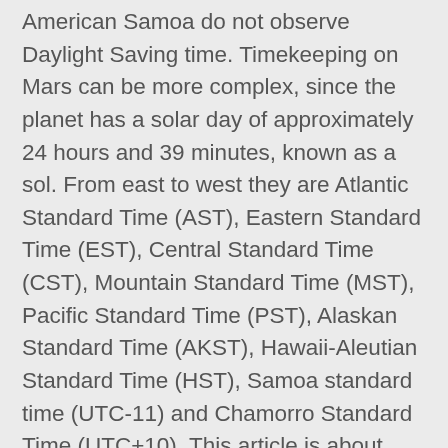American Samoa do not observe Daylight Saving time. Timekeeping on Mars can be more complex, since the planet has a solar day of approximately 24 hours and 39 minutes, known as a sol. From east to west they are Atlantic Standard Time (AST), Eastern Standard Time (EST), Central Standard Time (CST), Mountain Standard Time (MST), Pacific Standard Time (PST), Alaskan Standard Time (AKST), Hawaii-Aleutian Standard Time (HST), Samoa standard time (UTC-11) and Chamorro Standard Time (UTC+10). This article is about time zones in general. Many countries or regions, especially those in Europe and North America practice daylight saving time (DST), sometimes referred to as "summer time," with the intent of saving energy. The first adoption of a standard time was in November 1840, in Great Britain by railway companies using GMT kept by portable chronometers. (See the article on daylight saving time for more details on this aspect). Near